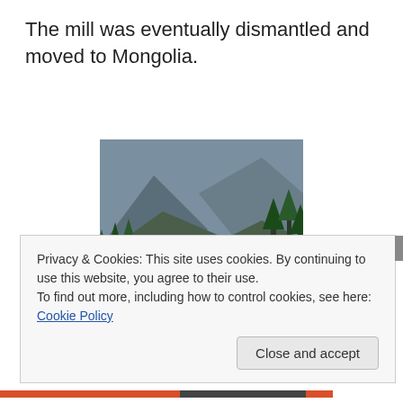The mill was eventually dismantled and moved to Mongolia.
[Figure (photo): Mountain landscape with rocky cliffs, dense conifer forest, and a valley below with a river or road visible between the peaks.]
Privacy & Cookies: This site uses cookies. By continuing to use this website, you agree to their use.
To find out more, including how to control cookies, see here: Cookie Policy
Close and accept